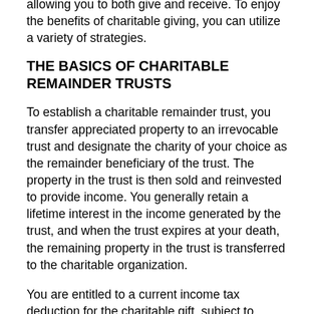allowing you to both give and receive. To enjoy the benefits of charitable giving, you can utilize a variety of strategies.
THE BASICS OF CHARITABLE REMAINDER TRUSTS
To establish a charitable remainder trust, you transfer appreciated property to an irrevocable trust and designate the charity of your choice as the remainder beneficiary of the trust. The property in the trust is then sold and reinvested to provide income. You generally retain a lifetime interest in the income generated by the trust, and when the trust expires at your death, the remaining property in the trust is transferred to the charitable organization.
You are entitled to a current income tax deduction for the charitable gift, subject to certain limits. And because the property was sold within the charitable trust, you will not have to pay tax on any capital gains. (However, distributions you receive from the trust are generally